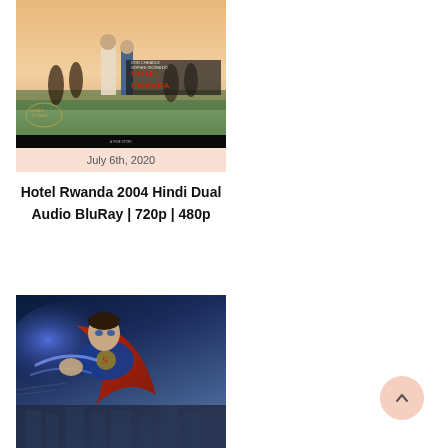[Figure (photo): Movie poster for Hotel Rwanda 2004]
July 6th, 2020
Hotel Rwanda 2004 Hindi Dual Audio BluRay | 720p | 480p
[Figure (photo): Movie poster for a Superman film showing Superman flying]